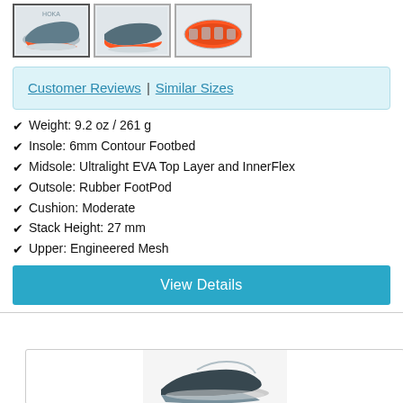[Figure (photo): Three thumbnail images of a running shoe (gray/orange) from different angles: side view, top-side view, and sole/bottom view]
Customer Reviews | Similar Sizes
✔ Weight: 9.2 oz / 261 g
✔ Insole: 6mm Contour Footbed
✔ Midsole: Ultralight EVA Top Layer and InnerFlex
✔ Outsole: Rubber FootPod
✔ Cushion: Moderate
✔ Stack Height: 27 mm
✔ Upper: Engineered Mesh
View Details
[Figure (photo): Partial view of a running shoe (black/white) at the bottom of the page]